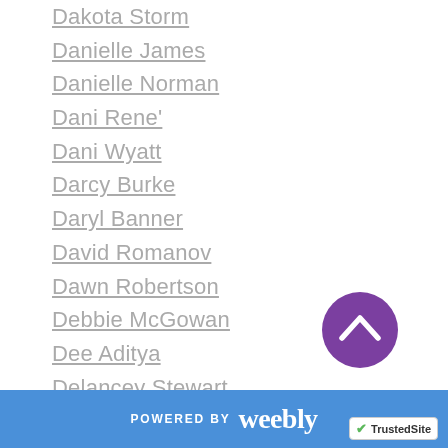Dakota Storm
Danielle James
Danielle Norman
Dani Rene'
Dani Wyatt
Darcy Burke
Daryl Banner
David Romanov
Dawn Robertson
Debbie McGowan
Dee Aditya
Delancey Stewart
Desiree L Scott
Deveny Perry
Devney Perry
D.Nichole King
Donna Alam
[Figure (other): Purple circular scroll-to-top button with upward chevron arrow]
POWERED BY weebly | TrustedSite